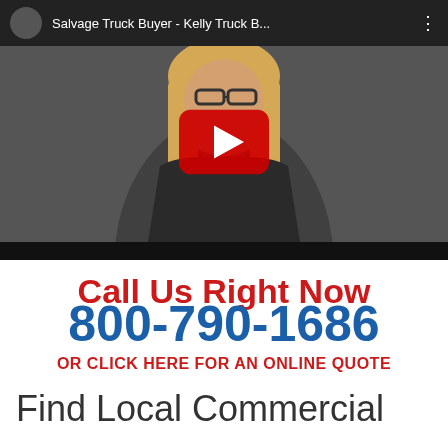[Figure (screenshot): YouTube video thumbnail showing a smiling woman with blonde hair and glasses wearing a black top, with YouTube play button overlay. Video title reads 'Salvage Truck Buyer - Kelly Truck B...']
Call Us Right Now
800-790-1686
OR CLICK HERE FOR AN ONLINE QUOTE
Find Local Commercial